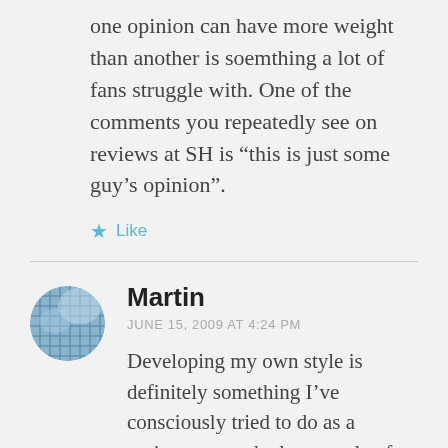one opinion can have more weight than another is soemthing a lot of fans struggle with. One of the comments you repeatedly see on reviews at SH is “this is just some guy’s opinion”.
★ Like
Martin
JUNE 15, 2009 AT 4:24 PM
Developing my own style is definitely something I’ve consciously tried to do as a reviewer over the last couple of years. Indeed, it is something I’ve thought about particularly since that